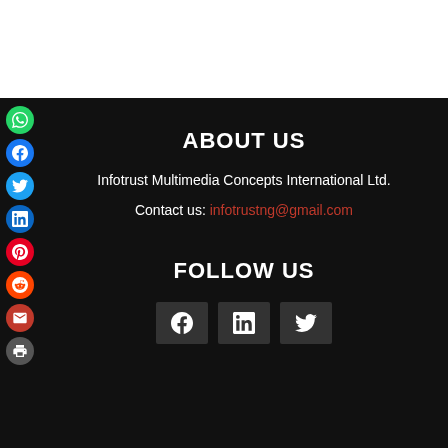ABOUT US
Infotrust Multimedia Concepts International Ltd.
Contact us: infotrostng@gmail.com
FOLLOW US
[Figure (other): Social media share icons sidebar: WhatsApp, Facebook, Twitter, LinkedIn, Pinterest, Reddit, Email, Print]